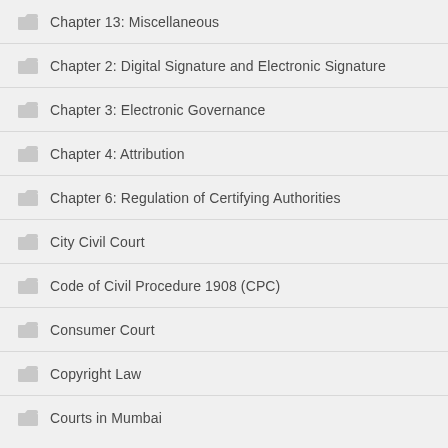Chapter 13: Miscellaneous
Chapter 2: Digital Signature and Electronic Signature
Chapter 3: Electronic Governance
Chapter 4: Attribution
Chapter 6: Regulation of Certifying Authorities
City Civil Court
Code of Civil Procedure 1908 (CPC)
Consumer Court
Copyright Law
Courts in Mumbai